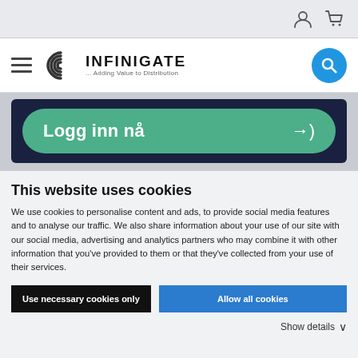[Figure (screenshot): Top utility bar with user account icon and shopping cart icon on the right]
[Figure (logo): Infinigate logo with concentric arc graphic and tagline '... Adding Value to Distribution', hamburger menu on left, blue search button on right]
[Figure (screenshot): Dark navy banner with large green rounded login button labeled 'Logg inn nå' with arrow-right icon]
This website uses cookies
We use cookies to personalise content and ads, to provide social media features and to analyse our traffic. We also share information about your use of our site with our social media, advertising and analytics partners who may combine it with other information that you've provided to them or that they've collected from your use of their services.
Use necessary cookies only
Allow all cookies
Show details